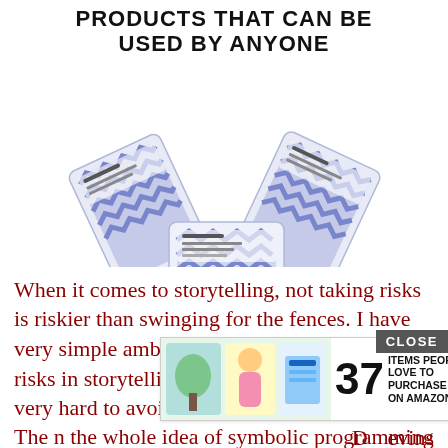PRODUCTS THAT CAN BE USED BY ANYONE
[Figure (photo): Stack of skincare/makeup cleansing wipe packages with blue geometric pattern on white background]
When it comes to storytelling, not taking risks is riskier than swinging for the fences. I have very simple ambitions when it comes to taking risks in storytelling and programming. I try very hard to avoid the expected.  Votes: 1
D...evins
[Figure (screenshot): Advertisement banner: 37 ITEMS PEOPLE LOVE TO PURCHASE ON AMAZON with 22 Words badge logo and product images]
The n... the whole idea of symbolic programming - the notion of setting up symbolic expressions that